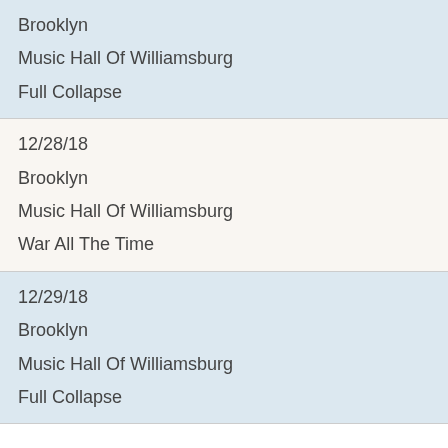Brooklyn
Music Hall Of Williamsburg
Full Collapse
12/28/18
Brooklyn
Music Hall Of Williamsburg
War All The Time
12/29/18
Brooklyn
Music Hall Of Williamsburg
Full Collapse